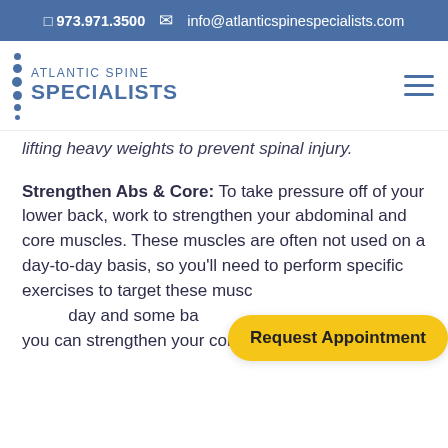973.971.3500  info@atlanticspinespecialists.com
[Figure (logo): Atlantic Spine Specialists logo with dots and text]
lifting heavy weights to prevent spinal injury.
Strengthen Abs & Core: To take pressure off of your lower back, work to strengthen your abdominal and core muscles. These muscles are often not used on a day-to-day basis, so you'll need to perform specific exercises to target these muscles. By working out every day and some basic yoga stretching exercises, you can strengthen your core over time to